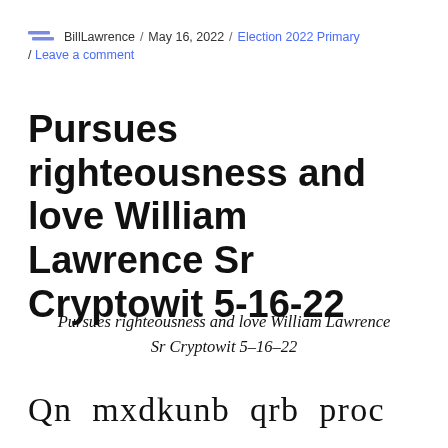BillLawrence / May 16, 2022 / Election 2022 Primary / Leave a comment
Pursues righteousness and love William Lawrence Sr Cryptowit 5-16-22
Pursues righteousness and love William Lawrence Sr Cryptowit 5–16–22
Qn mxdkunb qrb proc